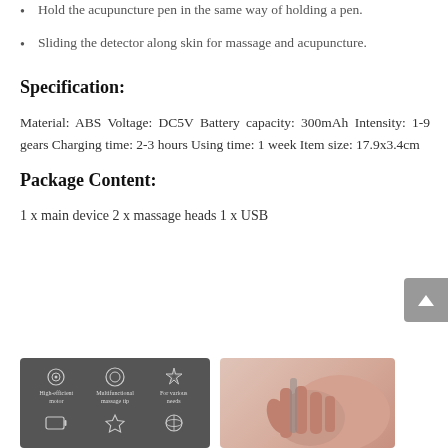Hold the acupuncture pen in the same way of holding a pen.
Sliding the detector along skin for massage and acupuncture.
Specification:
Material: ABS Voltage: DC5V Battery capacity: 300mAh Intensity: 1-9 gears Charging time: 2-3 hours Using time: 1 week Item size: 17.9x3.4cm
Package Content:
1 x main device 2 x massage heads 1 x USB
[Figure (illustration): Dark gray panel showing product feature icons (High-efficient motor, Multifunctional massage tip, For various needs, battery icon, diamond icon, atom/globe icon) alongside a hand holding the device.]